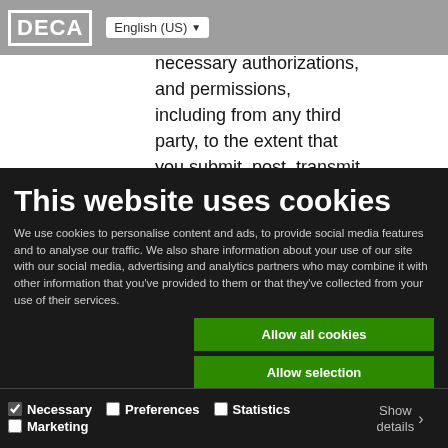[Figure (screenshot): DECA logo with white border box on gray navigation bar, next to English (US) language selector dropdown]
necessary authorizations, and permissions, including from any third party, to the extent that you submit, post, transmit or otherwise process
This website uses cookies
We use cookies to personalise content and ads, to provide social media features and to analyse our traffic. We also share information about your use of our site with our social media, advertising and analytics partners who may combine it with other information that you've provided to them or that they've collected from your use of their services.
Allow all cookies
Allow selection
Use necessary cookies only
Necessary  Preferences  Statistics  Marketing  Show details